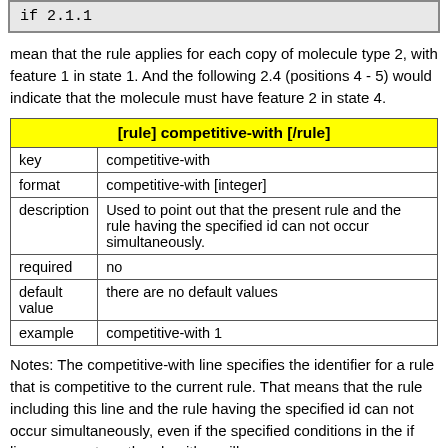if 2.1.1
mean that the rule applies for each copy of molecule type 2, with feature 1 in state 1. And the following 2.4 (positions 4 - 5) would indicate that the molecule must have feature 2 in state 4.
| [rule] competitive-with [/rule] |
| --- |
| key | competitive-with |
| format | competitive-with [integer] |
| description | Used to point out that the present rule and the rule having the specified id can not occur simultaneously. |
| required | no |
| default value | there are no default values |
| example | competitive-with 1 |
Notes: The competitive-with line specifies the identifier for a rule that is competitive to the current rule. That means that the rule including this line and the rule having the specified id can not occur simultaneously, even if the specified conditions in the if line were met, so the algorithm will